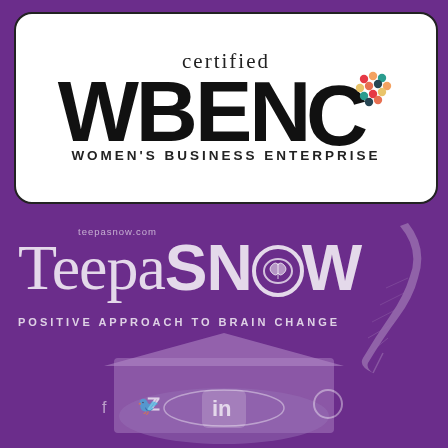[Figure (logo): WBENC Certified Women's Business Enterprise logo — white rounded rectangle with black border, 'certified' in serif, 'WBENC' in large bold sans-serif, colorful dot-pattern circular icon, 'WOMEN'S BUSINESS ENTERPRISE' subtitle]
[Figure (logo): Teepa Snow Positive Approach to Brain Change logo on purple background — 'teepasnow.com' URL, 'Teepa' in light serif, 'SNOW' in bold with brain icon replacing O, tagline 'POSITIVE APPROACH TO BRAIN CHANGE', feather graphic, social media icons at bottom on graduation cap graphic]